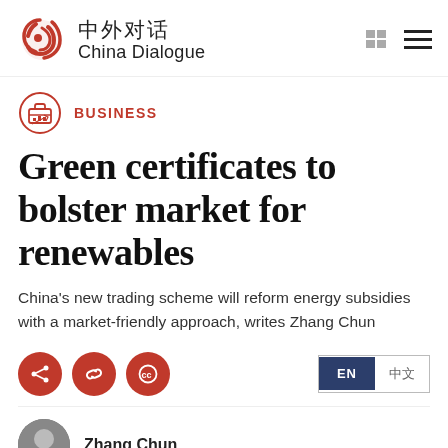中外对话 China Dialogue
BUSINESS
Green certificates to bolster market for renewables
China's new trading scheme will reform energy subsidies with a market-friendly approach, writes Zhang Chun
EN 中文
Zhang Chun